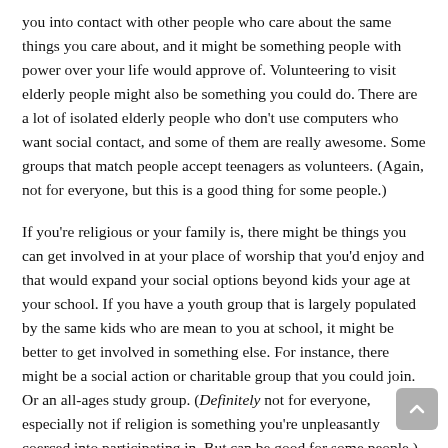you into contact with other people who care about the same things you care about, and it might be something people with power over your life would approve of. Volunteering to visit elderly people might also be something you could do. There are a lot of isolated elderly people who don't use computers who want social contact, and some of them are really awesome. Some groups that match people accept teenagers as volunteers. (Again, not for everyone, but this is a good thing for some people.)
If you're religious or your family is, there might be things you can get involved in at your place of worship that you'd enjoy and that would expand your social options beyond kids your age at your school. If you have a youth group that is largely populated by the same kids who are mean to you at school, it might be better to get involved in something else. For instance, there might be a social action or charitable group that you could join. Or an all-ages study group. (Definitely not for everyone, especially not if religion is something you're unpleasantly coerced into participating in. But can be good for some people.)